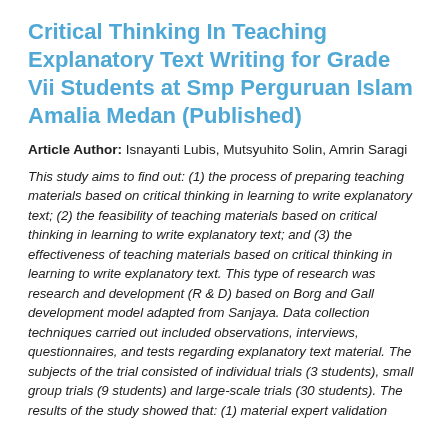Critical Thinking In Teaching Explanatory Text Writing for Grade Vii Students at Smp Perguruan Islam Amalia Medan (Published)
Article Author: Isnayanti Lubis, Mutsyuhito Solin, Amrin Saragi
This study aims to find out: (1) the process of preparing teaching materials based on critical thinking in learning to write explanatory text; (2) the feasibility of teaching materials based on critical thinking in learning to write explanatory text; and (3) the effectiveness of teaching materials based on critical thinking in learning to write explanatory text. This type of research was research and development (R & D) based on Borg and Gall development model adapted from Sanjaya. Data collection techniques carried out included observations, interviews, questionnaires, and tests regarding explanatory text material. The subjects of the trial consisted of individual trials (3 students), small group trials (9 students) and large-scale trials (30 students). The results of the study showed that: (1) material expert validation